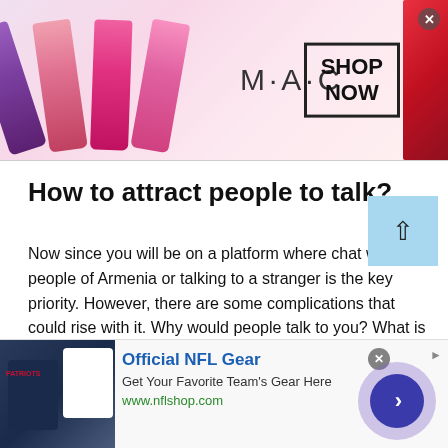[Figure (illustration): MAC cosmetics advertisement banner showing lipsticks in purple, pink, and red colors on left, MAC logo in center, SHOP NOW button in bordered box on right, red lipstick on far right, with close X button.]
How to attract people to talk?
Now since you will be on a platform where chat with people of Armenia or talking to a stranger is the key priority. However, there are some complications that could rise with it. Why would people talk to you? What is something that you have and others do not have? Even though while talking online you could have a different objective. Maybe you want to have a
[Figure (screenshot): Bottom advertisement banner showing Official NFL Gear ad with NFL jerseys image on left, text 'Official NFL Gear', 'Get Your Favorite Team's Gear Here', 'www.nflshop.com', close button, and purple circle with right arrow on right.]